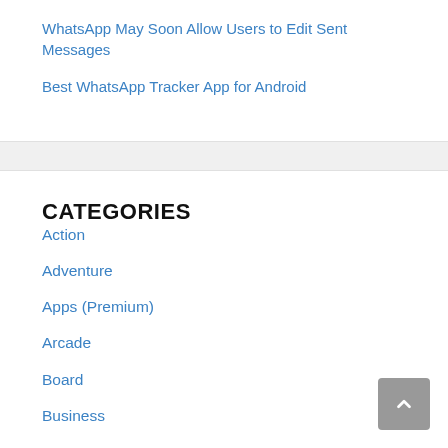WhatsApp May Soon Allow Users to Edit Sent Messages
Best WhatsApp Tracker App for Android
CATEGORIES
Action
Adventure
Apps (Premium)
Arcade
Board
Business